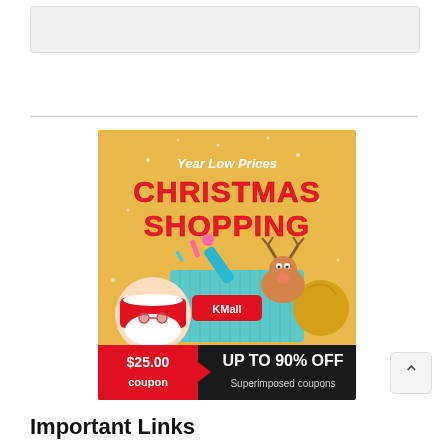[Figure (illustration): Gray placeholder box at the top of the page]
[Figure (infographic): Christmas shopping advertisement banner for KMall. Gold background with text 'Year Low Prices CHRISTMAS SHOPPING' in red and white letters, cartoon Santa Claus, reindeer, and party crackers. KMall logo on teal box. Bottom strip: '$25.00 coupon' on red background, 'UP TO 90% OFF Superimposed coupons' on dark background.]
Important Links